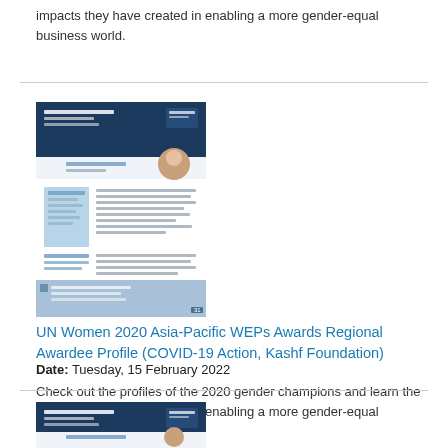impacts they have created in enabling a more gender-equal business world.
[Figure (illustration): Thumbnail preview of UN Women 2020 Asia-Pacific WEPs Awards Regional Awardee Profile document with dark blue header and portrait photo]
UN Women 2020 Asia-Pacific WEPs Awards Regional Awardee Profile (COVID-19 Action, Kashf Foundation)
Date: Tuesday, 15 February 2022
Check out the profiles of the 2020 gender champions and learn the impacts they have created in enabling a more gender-equal business world.
[Figure (illustration): Thumbnail preview of a similar UN Women WEPs Awards document with dark blue header]